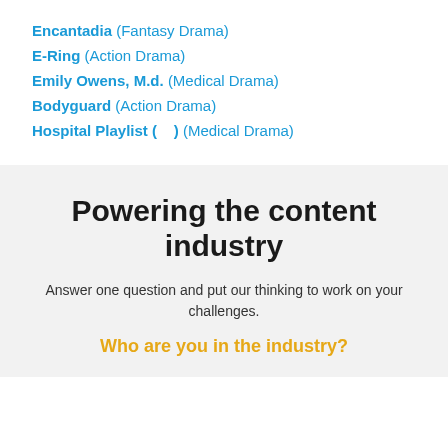Encantadia (Fantasy Drama)
E-Ring (Action Drama)
Emily Owens, M.d. (Medical Drama)
Bodyguard (Action Drama)
Hospital Playlist (    ) (Medical Drama)
Powering the content industry
Answer one question and put our thinking to work on your challenges.
Who are you in the industry?